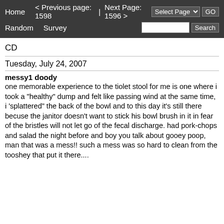Home   < Previous page: 1598  |  Next Page: 1596 >   Random   Survey   Select Page  GO   Search
CD
Tuesday, July 24, 2007
messy1 doody
one memorable experience to the tiolet stool for me is one where i took a "healthy" dump and felt like passing wind at the same time, i 'splattered" the back of the bowl and to this day it's still there becuse the janitor doesn't want to stick his bowl brush in it in fear of the bristles will not let go of the fecal discharge. had pork-chops and salad the night before and boy you talk about gooey poop, man that was a mess!! such a mess was so hard to clean from the tooshey that put it there....